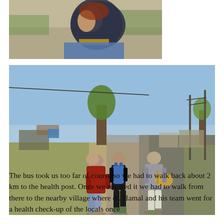[Figure (photo): Close-up photo of a young woman wearing a dark headscarf and blue clothing, viewed from the side, outdoors on a road.]
[Figure (photo): Three people walking away from the camera along a dirt path beside a road in a rural area with trees and utility poles, taken on a clear sunny day.]
The bus took us too far of course so we had to walk back about 2 km to the health post. Once we reached it we had to walk from there to the nearby village where dr. Hamal and his team went for a health check-up of the locals once